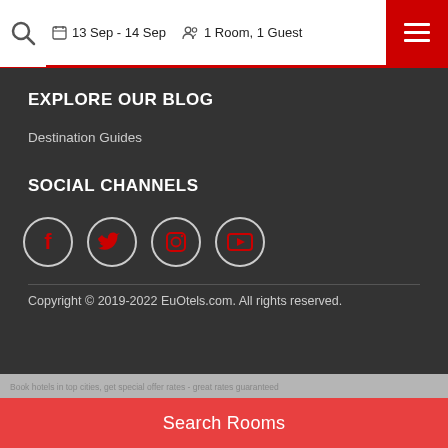13 Sep - 14 Sep  1 Room, 1 Guest
EXPLORE OUR BLOG
Destination Guides
SOCIAL CHANNELS
[Figure (illustration): Four circular social media icons: Facebook, Twitter, Instagram, YouTube]
Copyright © 2019-2022 EuOtels.com. All rights reserved.
Search Rooms